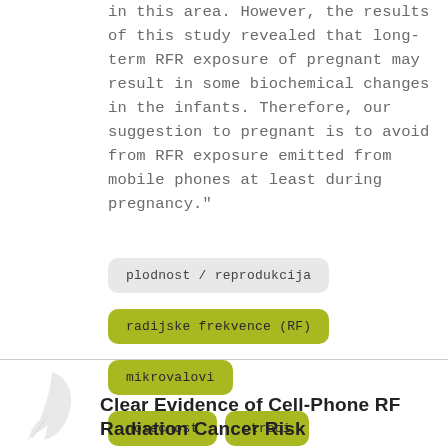in this area. However, the results of this study revealed that long-term RFR exposure of pregnant may result in some biochemical changes in the infants. Therefore, our suggestion to pregnant is to avoid from RFR exposure emitted from mobile phones at least during pregnancy."
plodnost / reprodukcija
radijske frekvence (RF)
mikrovalovi
nosečnost
otroci
Clear Evidence of Cell-Phone RF Radiation Cancer Risk